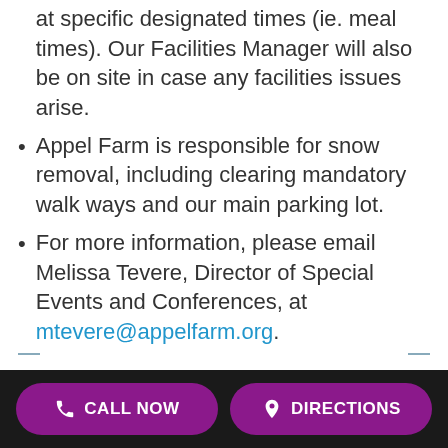at specific designated times (ie. meal times). Our Facilities Manager will also be on site in case any facilities issues arise.
Appel Farm is responsible for snow removal, including clearing mandatory walk ways and our main parking lot.
For more information, please email Melissa Tevere, Director of Special Events and Conferences, at mtevere@appelfarm.org.
CALL NOW | DIRECTIONS